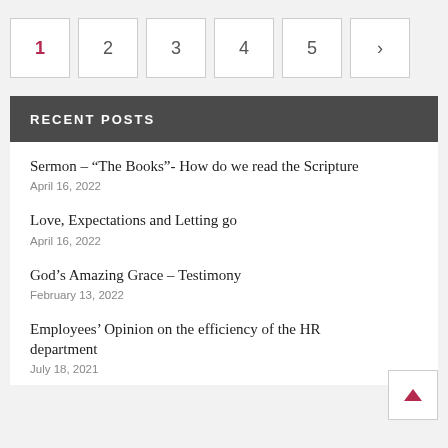1 2 3 4 5 >
RECENT POSTS
Sermon – “The Books”- How do we read the Scripture
April 16, 2022
Love, Expectations and Letting go
April 16, 2022
God’s Amazing Grace – Testimony
February 13, 2022
Employees’ Opinion on the efficiency of the HR department
July 18, 2021